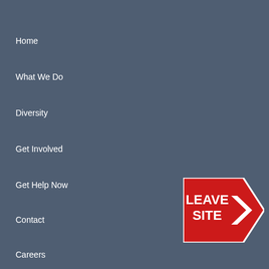Home
What We Do
Diversity
Get Involved
Get Help Now
Contact
Careers
Latest News
[Figure (other): Red arrow-shaped 'LEAVE SITE' badge pointing right]
Staff Spotlight – Introducing Milton Aguila, Par... Yonkers
Read More »